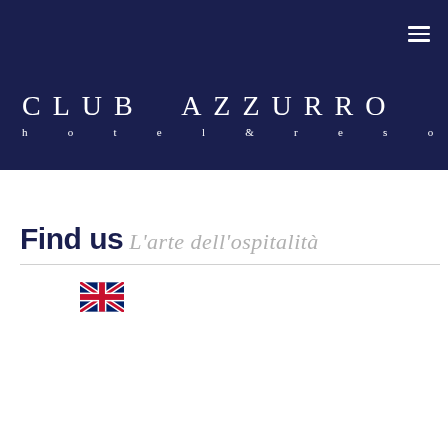[Figure (logo): Club Azzurro Hotel & Resort logo on dark navy background with hamburger menu icon in top-right corner]
Find us
L'arte dell'ospitalità
[Figure (illustration): UK/British flag (Union Jack) icon]